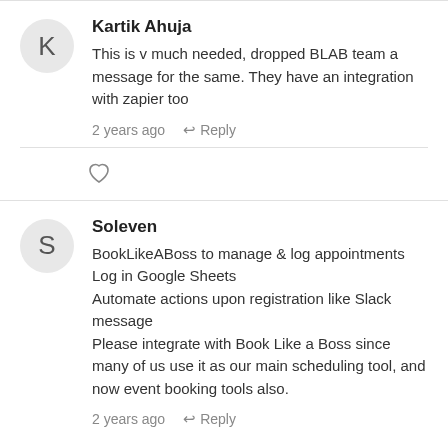Kartik Ahuja — This is v much needed, dropped BLAB team a message for the same. They have an integration with zapier too — 2 years ago — Reply
Soleven — BookLikeABoss to manage & log appointments
Log in Google Sheets
Automate actions upon registration like Slack message
Please integrate with Book Like a Boss since many of us use it as our main scheduling tool, and now event booking tools also. — 2 years ago — Reply